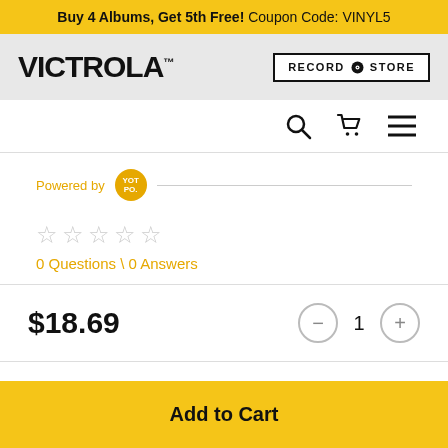Buy 4 Albums, Get 5th Free! Coupon Code: VINYL5
[Figure (logo): Victrola logo and Record Store button in header]
[Figure (infographic): Navigation icons: search, cart, hamburger menu]
Powered by YOTPO
★★★★★ (empty stars) 0 Questions \ 0 Answers
$18.69
1 (quantity control with - and + buttons)
Add to Cart